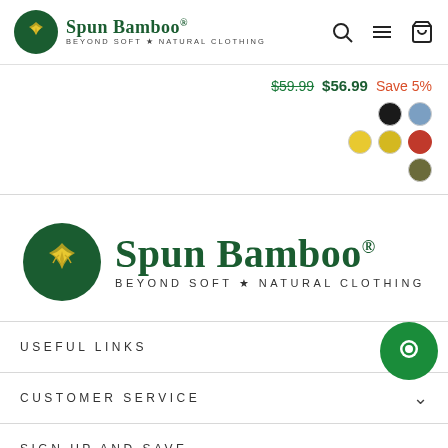Spun Bamboo® BEYOND SOFT * NATURAL CLOTHING
$59.99 $56.99 Save 5%
[Figure (other): Color swatch circles: black, blue, yellow, yellow-dark, red, olive]
[Figure (logo): Spun Bamboo logo — large green circle with bamboo illustration, text Spun Bamboo® BEYOND SOFT * NATURAL CLOTHING]
USEFUL LINKS
CUSTOMER SERVICE
SIGN UP AND SAVE